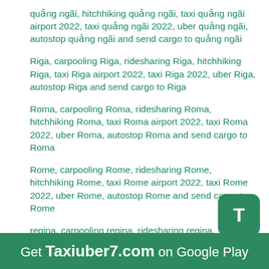quảng ngãi, hitchhiking quảng ngãi, taxi quảng ngãi airport 2022, taxi quảng ngãi 2022, uber quảng ngãi, autostop quảng ngãi and send cargo to quảng ngãi
Riga, carpooling Riga, ridesharing Riga, hitchhiking Riga, taxi Riga airport 2022, taxi Riga 2022, uber Riga, autostop Riga and send cargo to Riga
Roma, carpooling Roma, ridesharing Roma, hitchhiking Roma, taxi Roma airport 2022, taxi Roma 2022, uber Roma, autostop Roma and send cargo to Roma
Rome, carpooling Rome, ridesharing Rome, hitchhiking Rome, taxi Rome airport 2022, taxi Rome 2022, uber Rome, autostop Rome and send cargo to Rome
regina, carpooling regina, ridesharing regina, hitchhiking regina, taxi regina airport 2022, taxi regina 2022, uber regina, autostop regina and send cargo to regina
richmond, carpooling richmond, ridesharing richmond, hitchhiking richmond, taxi richmond airport 2022, taxi richmond 2022, uber richmond, autostop richmond and send cargo to richmond
rugby, carpooling rugby, ridesharing rugby, hitchhiking rugby, taxi rugby airport 2022, taxi rugby 2022, uber rugby, autostop rugby and send cargo to
Get Taxiuber7.com on Google Play